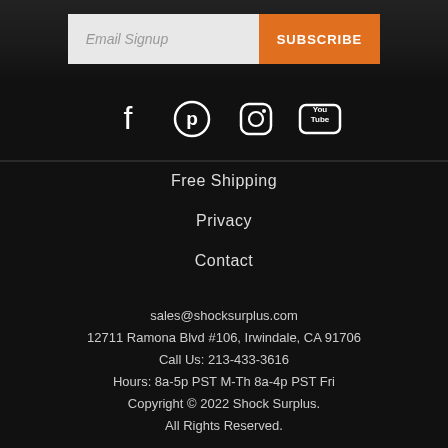[Figure (other): Email signup input field with orange Subscribe button]
[Figure (other): Social media icons: Facebook, Pinterest, Instagram, YouTube]
Free Shipping
Privacy
Contact
sales@shocksurplus.com
12711 Ramona Blvd #106, Irwindale, CA 91706
Call Us: 213-433-3616
Hours: 8a-5p PST M-Th 8a-4p PST Fri
Copyright © 2022 Shock Surplus.
All Rights Reserved.